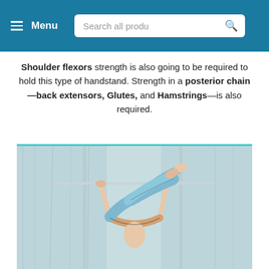≡ Menu   Search all produ 🔍
Shoulder flexors strength is also going to be required to hold this type of handstand. Strength in a posterior chain—back extensors, Glutes, and Hamstrings—is also required.
[Figure (illustration): Illustration of a person performing a handstand on parallel bars, body horizontal, arms extended downward gripping the bars, legs extended upward, set against a sketchy grey and teal background.]